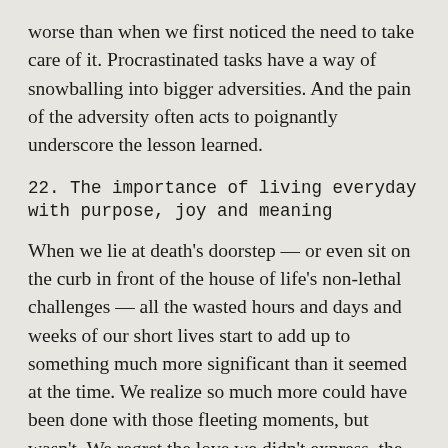worse than when we first noticed the need to take care of it. Procrastinated tasks have a way of snowballing into bigger adversities. And the pain of the adversity often acts to poignantly underscore the lesson learned.
22. The importance of living everyday with purpose, joy and meaning
When we lie at death's doorstep — or even sit on the curb in front of the house of life's non-lethal challenges — all the wasted hours and days and weeks of our short lives start to add up to something much more significant than it seemed at the time. We realize so much more could have been done with those fleeting moments, but wasn't. We regret the love we didn't express, the forgiveness we didn't extend, the humanitarian project we never took action to begin, the lives we could have touched but got too